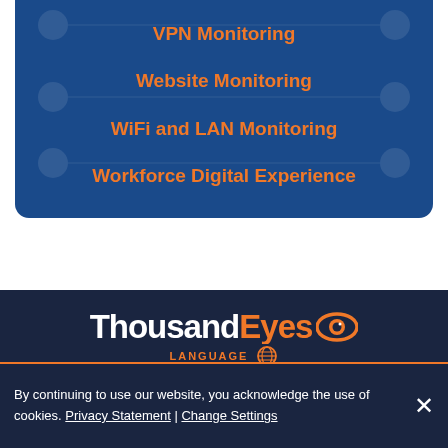VPN Monitoring
Website Monitoring
WiFi and LAN Monitoring
Workforce Digital Experience
[Figure (logo): ThousandEyes logo with eye icon, part of Cisco]
LANGUAGE
By continuing to use our website, you acknowledge the use of cookies. Privacy Statement | Change Settings